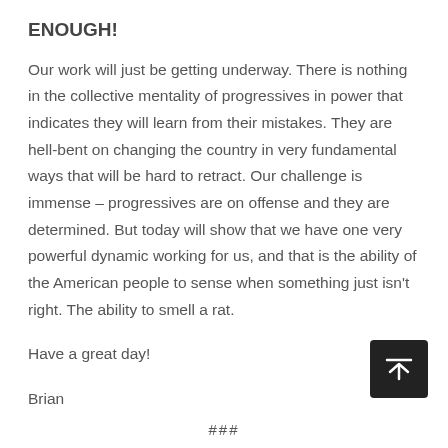ENOUGH!
Our work will just be getting underway. There is nothing in the collective mentality of progressives in power that indicates they will learn from their mistakes. They are hell-bent on changing the country in very fundamental ways that will be hard to retract. Our challenge is immense – progressives are on offense and they are determined. But today will show that we have one very powerful dynamic working for us, and that is the ability of the American people to sense when something just isn't right. The ability to smell a rat.
Have a great day!
Brian
###